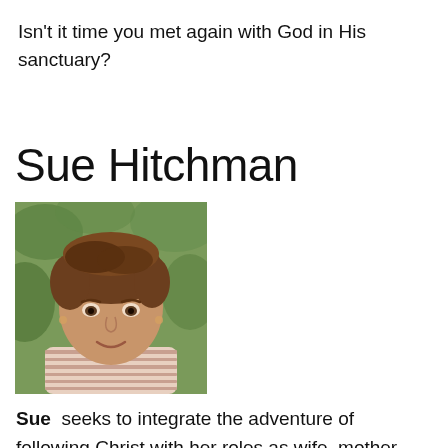Isn't it time you met again with God in His sanctuary?
Sue Hitchman
[Figure (photo): Portrait photo of Sue Hitchman, a woman with short brown hair, smiling, wearing a striped scarf/top, with green foliage in background.]
Sue seeks to integrate the adventure of following Christ with her roles as wife, mother